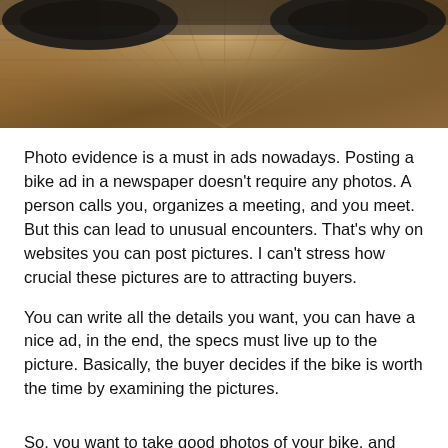[Figure (photo): Sepia-toned photo of a motorcycle parked on wooden decking/floor, viewed from below at wheel level, showing the tires and wooden plank flooring radiating outward in perspective.]
Photo evidence is a must in ads nowadays. Posting a bike ad in a newspaper doesn't require any photos. A person calls you, organizes a meeting, and you meet. But this can lead to unusual encounters. That's why on websites you can post pictures. I can't stress how crucial these pictures are to attracting buyers.
You can write all the details you want, you can have a nice ad, in the end, the specs must live up to the picture. Basically, the buyer decides if the bike is worth the time by examining the pictures.
So, you want to take good photos of your bike, and lots of them, have options. Go and find an open spot where you can take photos. If a friend has a good camera, ask if you